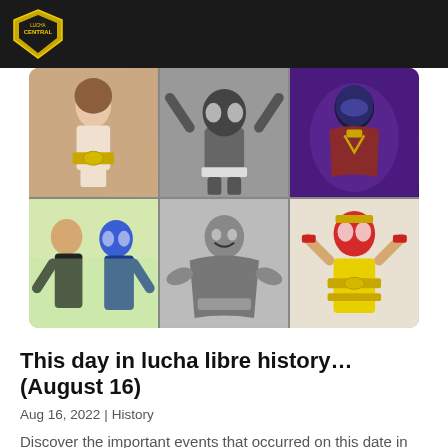CENTRAL (logo)
[Figure (photo): A 2x3 grid of lucha libre wrestling photos: top row shows a woman with a championship belt, a masked wrestler with arms raised in a black-and-white photo, and a costumed superhero-style wrestler in purple lighting; bottom row shows two wrestlers posing together, a black-and-white photo of a muscular wrestler, and a colorful masked wrestler with championship belts.]
This day in lucha libre history… (August 16)
Aug 16, 2022 | History
Discover the important events that occurred on this date in the lucha libre history.